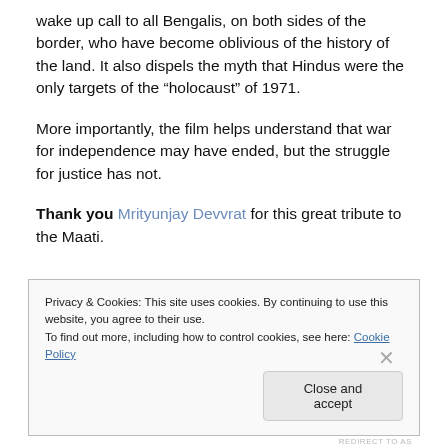wake up call to all Bengalis, on both sides of the border, who have become oblivious of the history of the land. It also dispels the myth that Hindus were the only targets of the “holocaust” of 1971.
More importantly, the film helps understand that war for independence may have ended, but the struggle for justice has not.
Thank you Mrityunjay Devvrat for this great tribute to the Maati.
Privacy & Cookies: This site uses cookies. By continuing to use this website, you agree to their use.
To find out more, including how to control cookies, see here: Cookie Policy
Close and accept